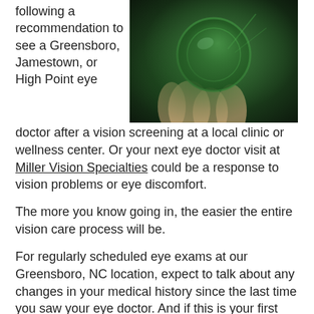[Figure (photo): Close-up photo of a hand holding a green glass lens or optical instrument against a dark background with green lighting.]
following a recommendation to see a Greensboro, Jamestown, or High Point eye doctor after a vision screening at a local clinic or wellness center. Or your next eye doctor visit at Miller Vision Specialties could be a response to vision problems or eye discomfort.
The more you know going in, the easier the entire vision care process will be.
For regularly scheduled eye exams at our Greensboro, NC location, expect to talk about any changes in your medical history since the last time you saw your eye doctor. And if this is your first time at the office of Dr. Sally Miller, Dr. David Miller, Dr. Neill Bulakowski, and Dr. Laura Skelton, you'll be asked to provide a more complete medical history, including a list of medications you're currently taking, and any vision problems your parents may have experienced.
In addition, you'll undergo a series of vision and eye tests at our